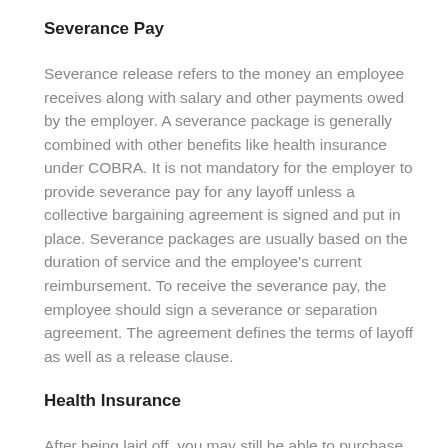Severance Pay
Severance release refers to the money an employee receives along with salary and other payments owed by the employer. A severance package is generally combined with other benefits like health insurance under COBRA. It is not mandatory for the employer to provide severance pay for any layoff unless a collective bargaining agreement is signed and put in place. Severance packages are usually based on the duration of service and the employee’s current reimbursement. To receive the severance pay, the employee should sign a severance or separation agreement. The agreement defines the terms of layoff as well as a release clause.
Health Insurance
After being laid off, you may still be able to purchase COBRA extended health insurance benefits. If you are